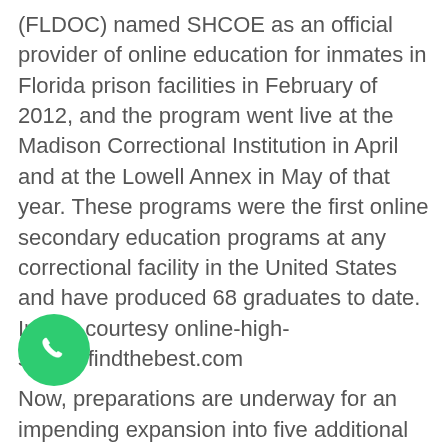(FLDOC) named SHCOE as an official provider of online education for inmates in Florida prison facilities in February of 2012, and the program went live at the Madison Correctional Institution in April and at the Lowell Annex in May of that year. These programs were the first online secondary education programs at any correctional facility in the United States and have produced 68 graduates to date.  Image courtesy online-high-school.findthebest.com
Now, preparations are underway for an impending expansion into five additional facilities.
“F⁠⁠⁠ne time we received our AdvancED/SACS ac⁠⁠ation in 2011, we had this goal of serving inmates in correctional facilities,” Dr. Liebman